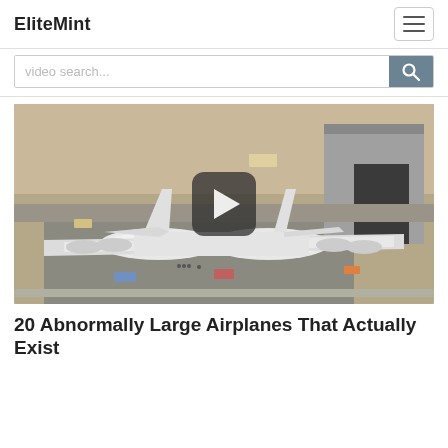EliteMint
video search...
[Figure (photo): Aerial view of a very large white aircraft (Stratolaunch or similar enormous plane) on a tarmac near a large hangar building, surrounded by ground vehicles and people. A video play button overlay is centered on the image.]
20 Abnormally Large Airplanes That Actually Exist